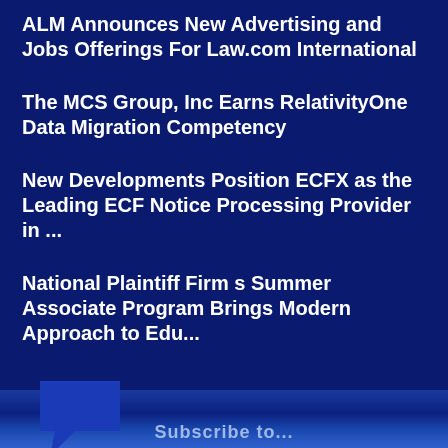ALM Announces New Advertising and Jobs Offerings For Law.com International
The MCS Group, Inc Earns RelativityOne Data Migration Competency
New Developments Position ECFX as the Leading ECF Notice Processing Provider in ...
National Plaintiff Firm s Summer Associate Program Brings Modern Approach to Edu...
[Figure (illustration): Blue arrow/chat bubble icon pointing right]
Subscribe to...